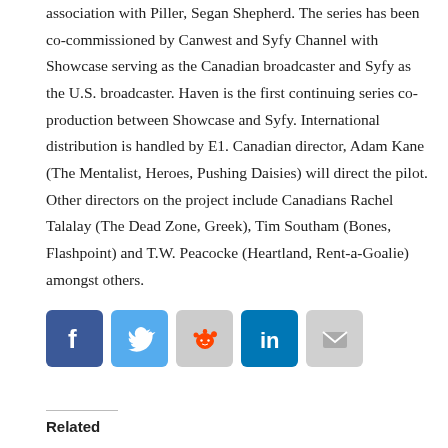association with Piller, Segan Shepherd. The series has been co-commissioned by Canwest and Syfy Channel with Showcase serving as the Canadian broadcaster and Syfy as the U.S. broadcaster. Haven is the first continuing series co-production between Showcase and Syfy. International distribution is handled by E1. Canadian director, Adam Kane (The Mentalist, Heroes, Pushing Daisies) will direct the pilot. Other directors on the project include Canadians Rachel Talalay (The Dead Zone, Greek), Tim Southam (Bones, Flashpoint) and T.W. Peacocke (Heartland, Rent-a-Goalie) amongst others.
[Figure (infographic): Social sharing icons: Facebook (blue), Twitter (light blue), Reddit (gray), LinkedIn (dark blue), Email (gray)]
Related